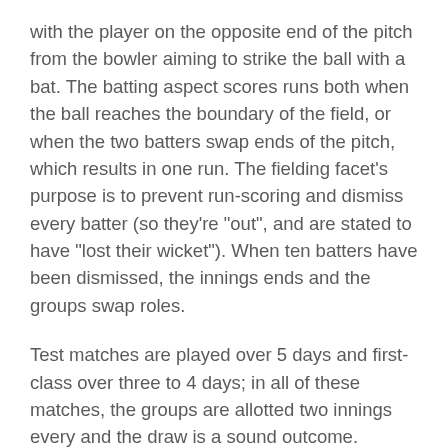with the player on the opposite end of the pitch from the bowler aiming to strike the ball with a bat. The batting aspect scores runs both when the ball reaches the boundary of the field, or when the two batters swap ends of the pitch, which results in one run. The fielding facet's purpose is to prevent run-scoring and dismiss every batter (so they're "out", and are stated to have "lost their wicket"). When ten batters have been dismissed, the innings ends and the groups swap roles.
Test matches are played over 5 days and first-class over three to 4 days; in all of these matches, the groups are allotted two innings every and the draw is a sound outcome. Cricket has shut historic ties with Australian guidelines soccer and lots of gamers have competed at top ranges in each sports activities. In 1858, outstanding Australian cricketer Tom Wills known as for the formation of a "foot-ball membership" with "a code of laws" to keep cricketers match through the off-season. The Melbourne Football Club was founded the following yr, and Wills and three different members codified the primary legal